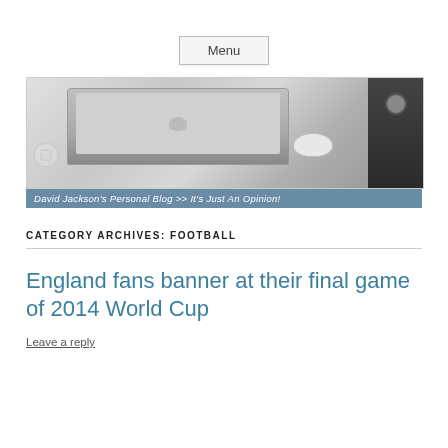Menu
[Figure (photo): Banner image showing a MacBook laptop on a white desk with a white mouse and a dark device on the right. Caption reads: David Jackson's Personal Blog >> It's Just An Opinion!]
CATEGORY ARCHIVES: FOOTBALL
England fans banner at their final game of 2014 World Cup
Leave a reply